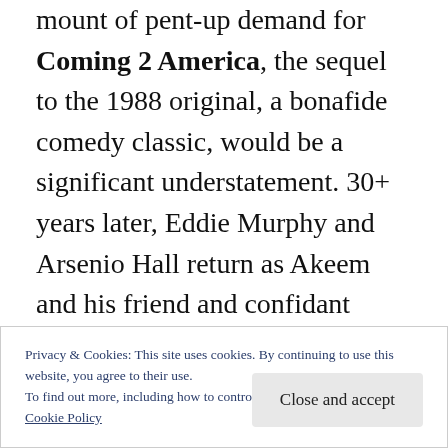mount of pent-up demand for Coming 2 America, the sequel to the 1988 original, a bonafide comedy classic, would be a significant understatement. 30+ years later, Eddie Murphy and Arsenio Hall return as Akeem and his friend and confidant Semmi, respectively. Akeem, having raised a family over the years, has now ascended to the throne of Zamunda but learned from his dying father (James Earl Jones) that he has a son he never knew back in America. So he and Semmi make their way back
Privacy & Cookies: This site uses cookies. By continuing to use this website, you agree to their use.
To find out more, including how to control cookies, see here:
Cookie Policy
Close and accept